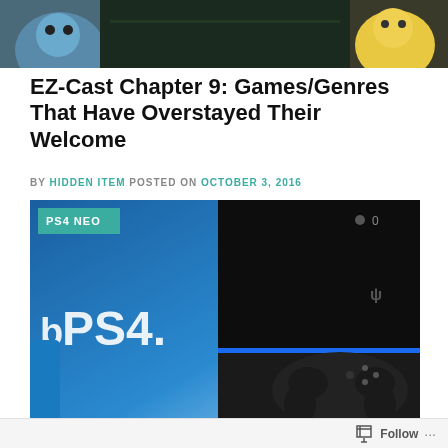[Figure (photo): Top banner image showing animated characters including a blue Pokemon-like character on the left and a yellow character on the right against a dark background]
EZ-Cast Chapter 9: Games/Genres That Have Overstayed Their Welcome
BY HIDDEN ITEM POSTED ON OCTOBER 3, 2016
[Figure (photo): PlayStation 4 console promotional image with PS4 NEO label in teal box at top left, showing the PS4 logo and console in black with blue light bar and DualShock 4 controller on a blue gradient background]
Follow